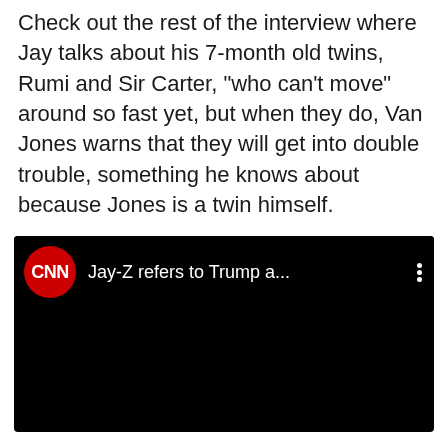Check out the rest of the interview where Jay talks about his 7-month old twins, Rumi and Sir Carter, "who can't move" around so fast yet, but when they do, Van Jones warns that they will get into double trouble, something he knows about because Jones is a twin himself.
[Figure (screenshot): CNN video thumbnail with CNN logo (red circle with CNN text) and title 'Jay-Z refers to Trump a...' with three-dot menu icon, on black background]